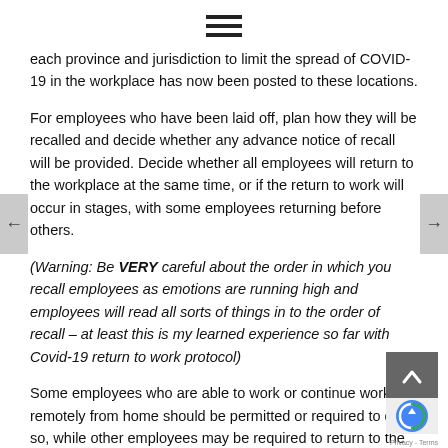[Figure (other): Hamburger menu icon (three horizontal bars)]
each province and jurisdiction to limit the spread of COVID-19 in the workplace has now been posted to these locations.
For employees who have been laid off, plan how they will be recalled and decide whether any advance notice of recall will be provided. Decide whether all employees will return to the workplace at the same time, or if the return to work will occur in stages, with some employees returning before others.
(Warning: Be VERY careful about the order in which you recall employees as emotions are running high and employees will read all sorts of things in to the order of recall – at least this is my learned experience so far with Covid-19 return to work protocol)
Some employees who are able to work or continue working remotely from home should be permitted or required to do so, while other employees may be required to return to the physical workplace. Some employers have adopted a work from home